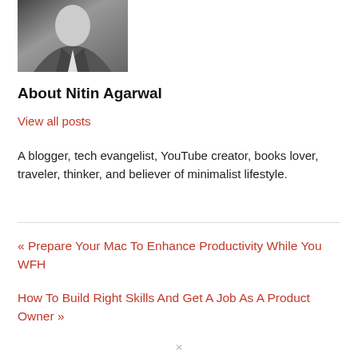[Figure (photo): Black and white portrait photo of Nitin Agarwal, a man in a suit jacket and white shirt]
About Nitin Agarwal
View all posts
A blogger, tech evangelist, YouTube creator, books lover, traveler, thinker, and believer of minimalist lifestyle.
« Prepare Your Mac To Enhance Productivity While You WFH
How To Build Right Skills And Get A Job As A Product Owner »
✕